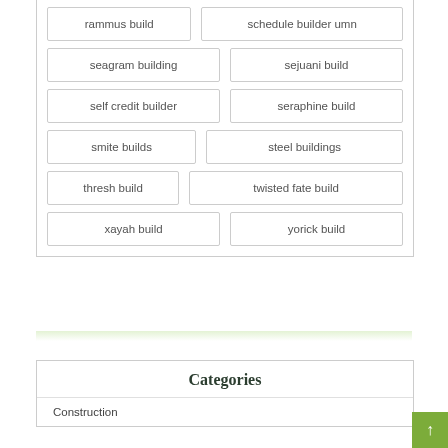rammus build
schedule builder umn
seagram building
sejuani build
self credit builder
seraphine build
smite builds
steel buildings
thresh build
twisted fate build
xayah build
yorick build
Categories
Construction